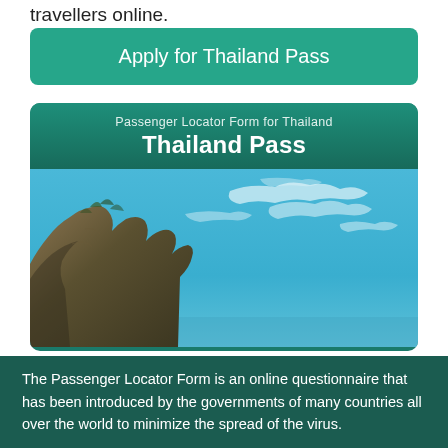travellers online.
[Figure (other): Teal rounded button with text 'Apply for Thailand Pass']
[Figure (illustration): Thailand Pass card showing 'Passenger Locator Form for Thailand' subtitle and 'Thailand Pass' title in white on dark teal background, with a scenic photo of a limestone cliff and blue sky with wispy clouds below]
The Passenger Locator Form is an online questionnaire that has been introduced by the governments of many countries all over the world to minimize the spread of the virus.